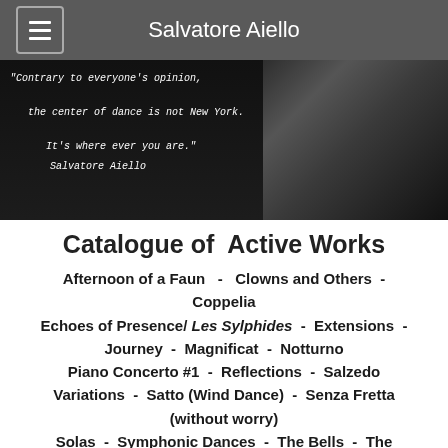Salvatore Aiello
[Figure (photo): Black and white hero image with a handwritten-style quote: "Contrary to everyone's opinion, the center of dance is not New York. It's where ever you are." - Salvatore Aiello, with a portrait of a man on the right side.]
Catalogue of  Active Works
Afternoon of a Faun  -  Clowns and Others  -  Coppelia  Echoes of Presence/ Les Sylphides  -  Extensions  -  Journey  -  Magnificat  -  Notturno  Piano Concerto #1  -  Reflections  -  Salzedo Variations  -  Satto (Wind Dance)  -  Senza Fretta (without worry)  Solas  -  Symphonic Dances  -  The Bells  -  The